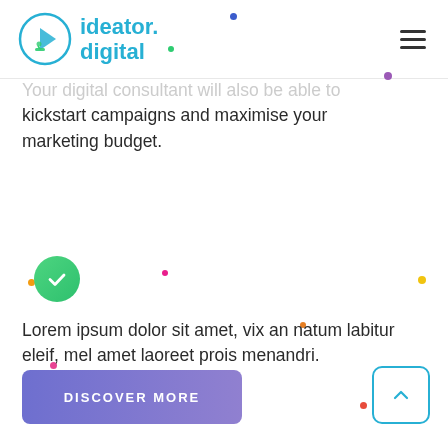[Figure (logo): ideator.digital logo with circular icon on the left and text on the right]
Your digital consultant will also be able to kickstart campaigns and maximise your marketing budget.
[Figure (illustration): Green circle with white checkmark icon]
Lorem ipsum dolor sit amet, vix an natum labitur eleif, mel amet laoreet prois menandri.
[Figure (other): Purple gradient button labeled DISCOVER MORE]
[Figure (other): Back-to-top button with upward chevron in teal border box]